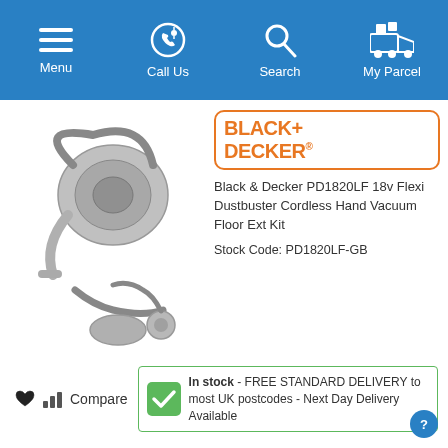Menu | Call Us | Search | My Parcel
[Figure (photo): Black & Decker PD1820LF 18v Flexi Dustbuster Cordless Hand Vacuum Floor Ext Kit product image showing the vacuum unit with hose and floor attachments]
[Figure (logo): BLACK+DECKER logo in orange with rounded rectangle border]
Black & Decker PD1820LF 18v Flexi Dustbuster Cordless Hand Vacuum Floor Ext Kit
Stock Code: PD1820LF-GB
Compare
In stock - FREE STANDARD DELIVERY to most UK postcodes - Next Day Delivery Available
£107.96 INC. VAT
£89.97 Excl. VAT
ADD TO PARCEL